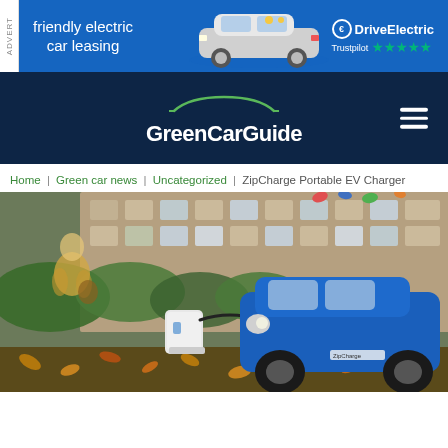[Figure (other): Advertisement banner for DriveElectric friendly electric car leasing with a silver MINI electric car and Trustpilot 5-star rating on blue background]
[Figure (logo): GreenCarGuide website logo on dark navy background with car silhouette outline]
Home | Green car news | Uncategorized | ZipCharge Portable EV Charger
[Figure (photo): Blue Honda e electric car being charged by a ZipCharge portable EV charger unit on a street with autumn leaves, person walking in background, industrial building behind]